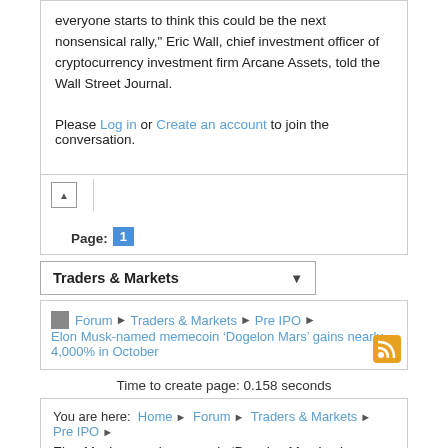everyone starts to think this could be the next nonsensical rally," Eric Wall, chief investment officer of cryptocurrency investment firm Arcane Assets, told the Wall Street Journal.
Please Log in or Create an account to join the conversation.
Page: 1
Traders & Markets
Forum ▶ Traders & Markets ▶ Pre IPO ▶ Elon Musk-named memecoin 'Dogelon Mars' gains nearly 4,000% in October
Time to create page: 0.158 seconds
You are here: Home ▶ Forum ▶ Traders & Markets ▶ Pre IPO ▶ Elon Musk-named memecoin 'Dogelon Mars' gains nearly 4,000% in October